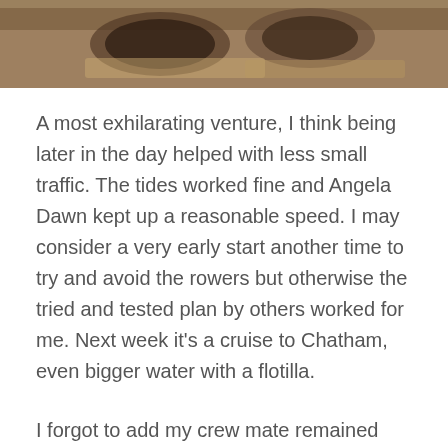[Figure (photo): Top portion of a photo showing drinks/cups on a table with a wooden surface, partially cropped]
A most exhilarating venture, I think being later in the day helped with less small traffic. The tides worked fine and Angela Dawn kept up a reasonable speed. I may consider a very early start another time to try and avoid the rowers but otherwise the tried and tested plan by others worked for me. Next week it’s a cruise to Chatham, even bigger water with a flotilla.
I forgot to add my crew mate remained relaxed throughout!!
[Figure (photo): Bottom portion of a photo showing the interior of a boat cabin with windows and wooden paneling]